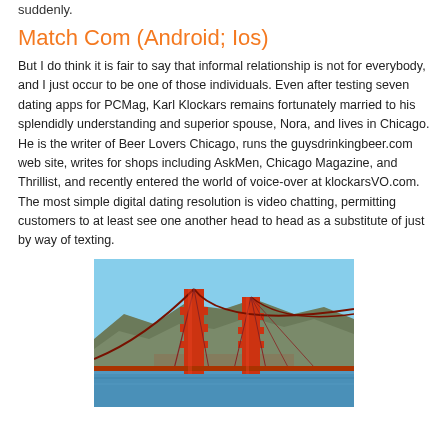suddenly.
Match Com (Android; Ios)
But I do think it is fair to say that informal relationship is not for everybody, and I just occur to be one of those individuals. Even after testing seven dating apps for PCMag, Karl Klockars remains fortunately married to his splendidly understanding and superior spouse, Nora, and lives in Chicago. He is the writer of Beer Lovers Chicago, runs the guysdrinkingbeer.com web site, writes for shops including AskMen, Chicago Magazine, and Thrillist, and recently entered the world of voice-over at klockarsVO.com. The most simple digital dating resolution is video chatting, permitting customers to at least see one another head to head as a substitute of just by way of texting.
[Figure (photo): Aerial photograph of the Golden Gate Bridge in San Francisco with bay water and hills in the background.]